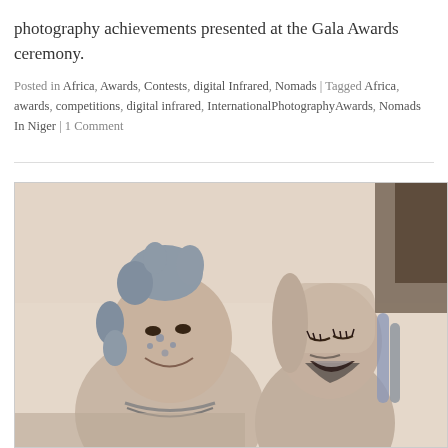photography achievements presented at the Gala Awards ceremony.
Posted in Africa, Awards, Contests, digital Infrared, Nomads | Tagged Africa, awards, competitions, digital infrared, InternationalPhotographyAwards, Nomads In Niger | 1 Comment
[Figure (photo): Black and white / duotone sepia-toned photo of two women with face paint/tattoos and blue hair laughing together outdoors]